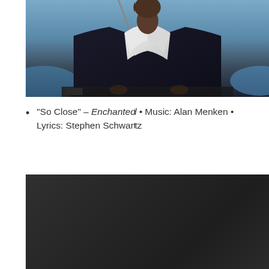[Figure (photo): A person in a dark suit with a white shirt collar visible, seated at what appears to be a piano or keyboard with a microphone, blue-tinted stage background]
“So Close” – Enchanted • Music: Alan Menken • Lyrics: Stephen Schwartz
[Figure (photo): Dark/nearly black image, possibly a dark stage or screen]